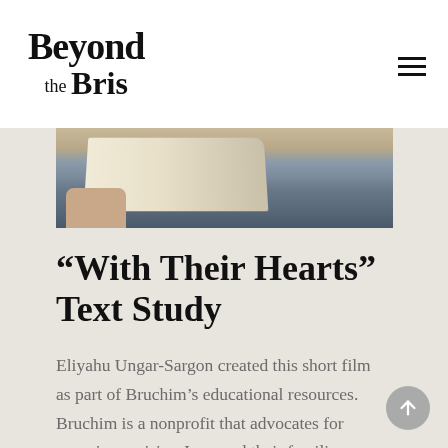Beyond the Bris
[Figure (photo): A person's hand holding open a large book or text, photographed from above. The pages are cream/white colored.]
“With Their Hearts” Text Study
Eliyahu Ungar-Sargon created this short film as part of Bruchim’s educational resources. Bruchim is a nonprofit that advocates for non-circumcising Jews and their families. Eliyahu walks us through three texts from the heart of the Rabbinic legal tradition that all deal with the matter